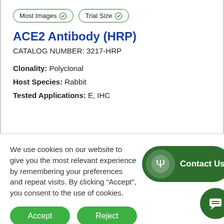[Figure (other): Two filter/badge tags: 'Most Images' with green checkmark shield icon, and 'Trial Size' with green checkmark shield icon]
ACE2 Antibody (HRP)
CATALOG NUMBER: 3217-HRP
Clonality: Polyclonal
Host Species: Rabbit
Tested Applications: E, IHC
We use cookies on our website to give you the most relevant experience by remembering your preferences and repeat visits. By clicking “Accept”, you consent to the use of cookies.
[Figure (other): Green pill-shaped 'Contact Us' button with white psi symbol icon on left]
[Figure (other): Green circular chat/message button]
Accept
Reject